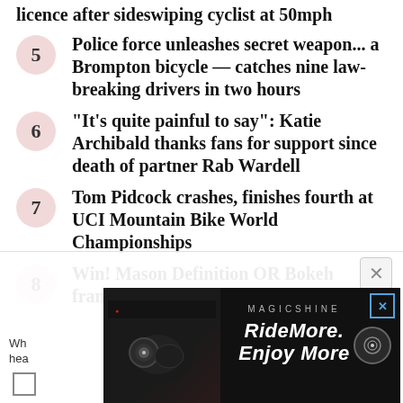licence after sideswiping cyclist at 50mph
5 Police force unleashes secret weapon... a Brompton bicycle — catches nine law-breaking drivers in two hours
6 "It's quite painful to say": Katie Archibald thanks fans for support since death of partner Rab Wardell
7 Tom Pidcock crashes, finishes fourth at UCI Mountain Bike World Championships
8 Win! Mason Definition OR Bokeh frameset worth up to £1,375!
[Figure (screenshot): Advertisement banner for Magicshine: 'RideMore. Enjoy More' with bicycle light imagery on dark background]